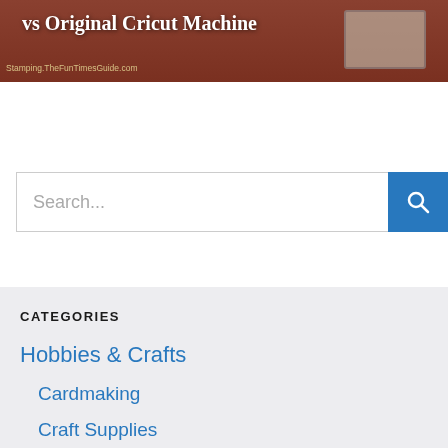[Figure (screenshot): Banner image with brown/reddish background showing partial title text 'vs Original Cricut Machine' in white serif font, with a watermark 'Stamping.TheFunTimesGuide.com' and a gray machine image on the right]
Search...
CATEGORIES
Hobbies & Crafts
Cardmaking
Craft Supplies